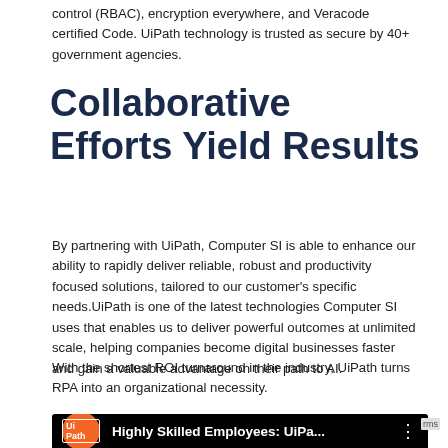control (RBAC), encryption everywhere, and Veracode certified Code. UiPath technology is trusted as secure by 40+ government agencies.
Collaborative Efforts Yield Results
By partnering with UiPath, Computer SI is able to enhance our ability to rapidly deliver reliable, robust and productivity focused solutions, tailored to our customer's specific needs. UiPath is one of the latest technologies Computer SI uses that enables us to deliver powerful outcomes at unlimited scale, helping companies become digital businesses faster and gain a valuable advantage on their path to AI.
With the shortest ROI turnaround in the industry, UiPath turns RPA into an organizational necessity.
[Figure (screenshot): Video thumbnail showing UiPath logo on orange circle, title 'Highly Skilled Employees: UiPa...' on black background with three-dot menu icon]